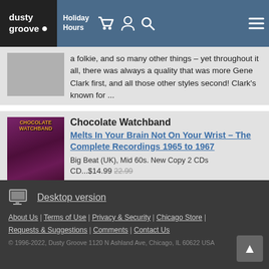dusty groove | Holiday Hours
a folkie, and so many other things – yet throughout it all, there was always a quality that was more Gene Clark first, and all those other styles second! Clark's known for ...
Chocolate Watchband
Melts In Your Brain Not On Your Wrist – The Complete Recordings 1965 to 1967
Big Beat (UK), Mid 60s. New Copy 2 CDs
CD...$14.99 22.99
Throw away all of your other 60s psychedelic albums – because with this massive 2CD set, you'll hardly need them! The Chocolate Watchband were one of the key groups of the California scene of the 60s – a hard-rocking outfit that emerged in the garagey psyche years, and worked in the ...
Desktop version
About Us | Terms of Use | Privacy & Security | Chicago Store | Requests & Suggestions | Comments | Contact Us
© 1996-2022, Dusty Groove 1120 N Ashland Ave, Chicago, IL 60622 USA